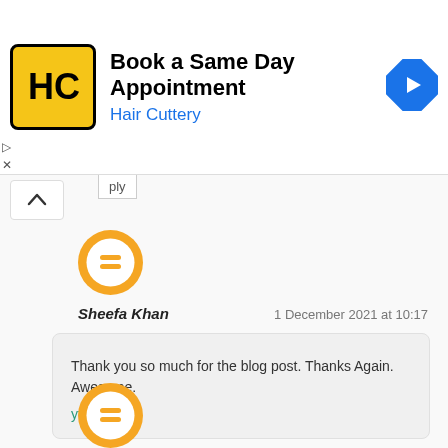[Figure (infographic): Hair Cuttery advertisement banner: 'Book a Same Day Appointment' with Hair Cuttery logo and navigation arrow icon]
Sheefa Khan
1 December 2021 at 10:17
Thank you so much for the blog post. Thanks Again. Awesome.
yt to mp3